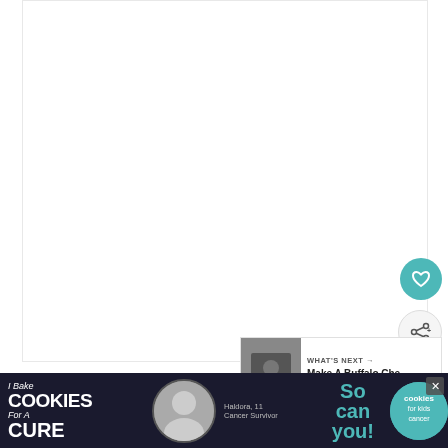[Figure (photo): Large white/blank image area occupying the upper portion of the page, appears to be a recipe or food photo (content not visible at this scroll position)]
Isn't that just stunning? This is only about 30
[Figure (infographic): Advertisement banner: 'I Bake COOKIES For A CURE - Haldora, 11 Cancer Survivor - So can you! - cookies for kids cancer' with close (x) button, dark background, teal accent colors]